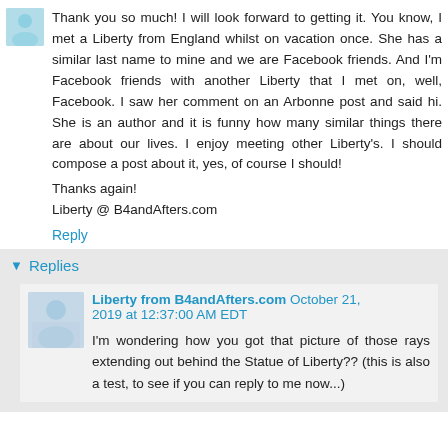Thank you so much! I will look forward to getting it. You know, I met a Liberty from England whilst on vacation once. She has a similar last name to mine and we are Facebook friends. And I'm Facebook friends with another Liberty that I met on, well, Facebook. I saw her comment on an Arbonne post and said hi. She is an author and it is funny how many similar things there are about our lives. I enjoy meeting other Liberty's. I should compose a post about it, yes, of course I should!
Thanks again!
Liberty @ B4andAfters.com
Reply
Replies
Liberty from B4andAfters.com October 21, 2019 at 12:37:00 AM EDT
I'm wondering how you got that picture of those rays extending out behind the Statue of Liberty?? (this is also a test, to see if you can reply to me now...)